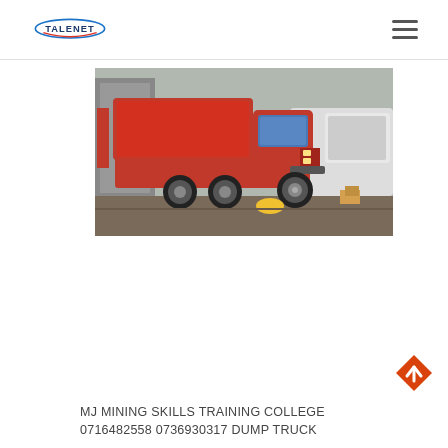TALENET
[Figure (photo): Red HOWO dump truck parked in a yard, with a white truck visible in the background. The red truck has its dump bed visible and multiple rear axles.]
MJ MINING SKILLS TRAINING COLLEGE 0716482558 0736930317 DUMP TRUCK